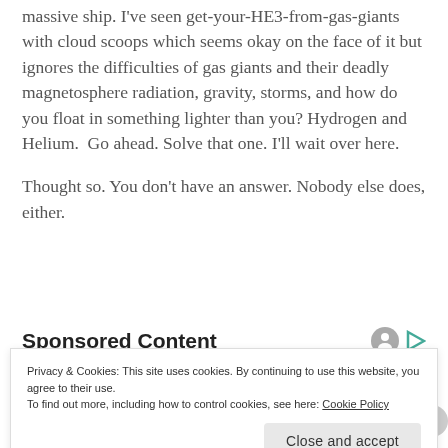massive ship. I've seen get-your-HE3-from-gas-giants with cloud scoops which seems okay on the face of it but ignores the difficulties of gas giants and their deadly magnetosphere radiation, gravity, storms, and how do you float in something lighter than you? Hydrogen and Helium.  Go ahead. Solve that one. I'll wait over here.
Thought so. You don't have an answer. Nobody else does, either.
Sponsored Content
Privacy & Cookies: This site uses cookies. By continuing to use this website, you agree to their use.
To find out more, including how to control cookies, see here: Cookie Policy
Close and accept